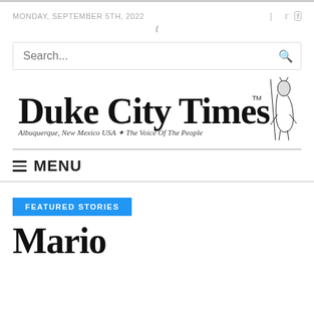MONDAY, SEPTEMBER 5TH, 2022
[Figure (logo): Duke City Times newspaper logo with Old English blackletter font, bear mascot illustration, subtitle: Albuquerque, New Mexico USA | The Voice Of The People, with TM mark]
≡ MENU
FEATURED STORIES
Mario